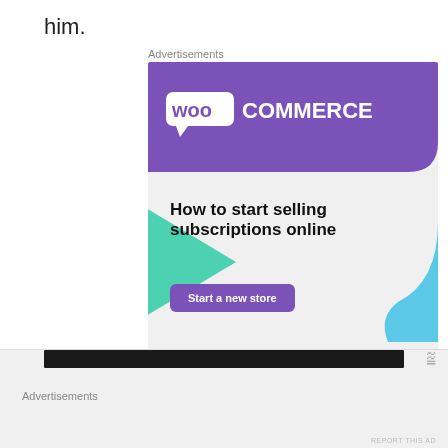him.
Advertisements
[Figure (illustration): WooCommerce advertisement banner. Purple background with WooCommerce logo at top. Green triangle shape on left side. Blue curved shape on right side. Text reads: How to start selling subscriptions online. Purple button: Start a new store.]
REPORT THIS AD
[Figure (screenshot): Bottom advertisement section with dark video bar and close button (X)]
Advertisements
REPORT THIS AD